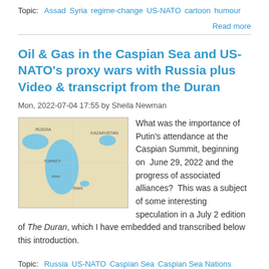Topic: Assad  Syria  regime-change  US-NATO  cartoon  humour
Read more
Oil & Gas in the Caspian Sea and US-NATO's proxy wars with Russia plus Video & transcript from the Duran
Mon, 2022-07-04 17:55 by Sheila Newman
[Figure (map): Map of the Caspian Sea region showing bodies of water in blue on a tan/beige land background with country labels including Kazakhstan, Russia, Turkey, Iran.]
What was the importance of Putin's attendance at the Caspian Summit, beginning on June 29, 2022 and the progress of associated alliances? This was a subject of some interesting speculation in a July 2 edition of The Duran, which I have embedded and transcribed below this introduction.
Topic: Russia  US-NATO  Caspian Sea  Caspian Sea Nations Summit  Putin  Black Sea  Russia's backyard  Syria  Turkey  Eurasia
Read more